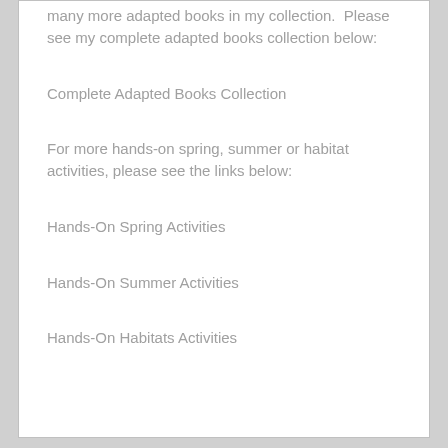many more adapted books in my collection. Please see my complete adapted books collection below:
Complete Adapted Books Collection
For more hands-on spring, summer or habitat activities, please see the links below:
Hands-On Spring Activities
Hands-On Summer Activities
Hands-On Habitats Activities